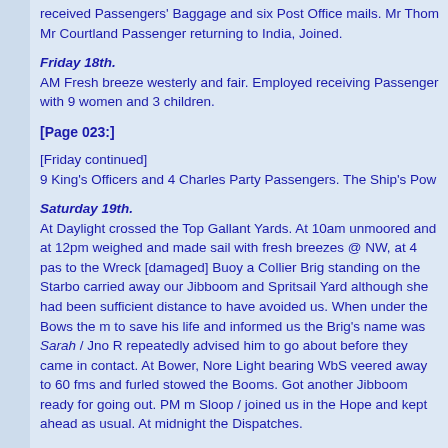received Passengers' Baggage and six Post Office mails. Mr Thom Mr Courtland Passenger returning to India, Joined.
Friday 18th.
AM Fresh breeze westerly and fair. Employed receiving Passenger with 9 women and 3 children.
[Page 023:]
[Friday continued]
9 King's Officers and 4 Charles Party Passengers. The Ship's Powe
Saturday 19th.
At Daylight crossed the Top Gallant Yards. At 10am unmoored and at 12pm weighed and made sail with fresh breezes @ NW, at 4 pas to the Wreck [damaged] Buoy a Collier Brig standing on the Starbo carried away our Jibboom and Spritsail Yard although she had bee sufficient distance to have avoided us. When under the Bows the m to save his life and informed us the Brig's name was Sarah / Jno R repeatedly advised him to go about before they came in contact. At Bower, Nore Light bearing WbS veered away to 60 fms and furled stowed the Booms. Got another Jibboom ready for going out. PM m Sloop / joined us in the Hope and kept ahead as usual. At midnight the Dispatches.
Sunday 20th.